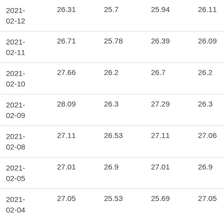| 2021-02-12 | 26.31 | 25.7 | 25.94 | 26.11 | 9200.0 |
| 2021-02-11 | 26.71 | 25.78 | 26.39 | 26.09 | 5800.0 |
| 2021-02-10 | 27.66 | 26.2 | 26.7 | 26.2 | 4500.0 |
| 2021-02-09 | 28.09 | 26.3 | 27.29 | 26.3 | 12100.0 |
| 2021-02-08 | 27.11 | 26.53 | 27.11 | 27.06 | 4800.0 |
| 2021-02-05 | 27.01 | 26.9 | 27.01 | 26.9 | 2600.0 |
| 2021-02-04 | 27.05 | 25.53 | 25.69 | 27.05 | 6100.0 |